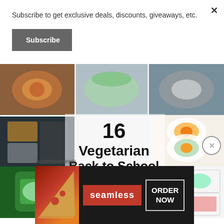Subscribe to get exclusive deals, discounts, giveaways, etc.
Subscribe
[Figure (photo): Collage of 9 food photos arranged in a 3x3 grid showing various vegetarian lunchbox ideas including tacos, wraps, sushi rolls, bento boxes, salads, and snack containers. Overlaid text reads '16 Vegetarian Back to School Lunchbox Ideas' and 'Mom on the go in Holy Toledo']
Advertisements
[Figure (photo): Seamless food delivery advertisement banner showing pizza slices on left, Seamless logo in red center, and ORDER NOW button on right with dark background]